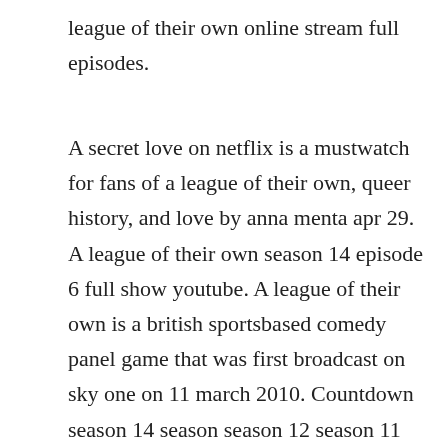league of their own online stream full episodes.
A secret love on netflix is a mustwatch for fans of a league of their own, queer history, and love by anna menta apr 29. A league of their own season 14 episode 6 full show youtube. A league of their own is a british sportsbased comedy panel game that was first broadcast on sky one on 11 march 2010. Countdown season 14 season season 12 season 11 season 10 season 9 season 8 season 7 season 6 season 5 season 4 season 3 season